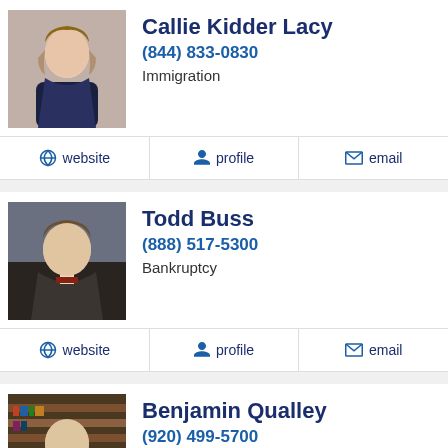[Figure (photo): Headshot of Callie Kidder Lacy, woman with light hair]
Callie Kidder Lacy
(844) 833-0830
Immigration
website  profile  email
[Figure (photo): Headshot of Todd Buss, man in suit]
Todd Buss
(888) 517-5300
Bankruptcy
website  profile  email
[Figure (photo): Headshot of Benjamin Qualley, man in suit with bookshelf]
Benjamin Qualley
(920) 499-5700
Insurance Defense
website  profile  email